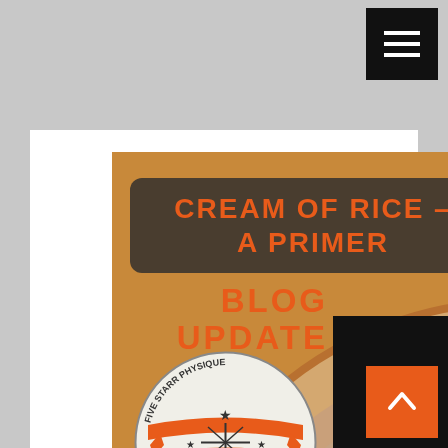[Figure (screenshot): Mobile website screenshot showing a blog post titled 'Cream of Rice - A Primer' with a food photo of cream of rice with blueberries in a bowl, Five Starr Physique logo, Blog Update label, hamburger menu button, comment count badge showing 0, and orange scroll-to-top arrow button.]
CREAM OF RICE – A PRIMER
BLOG UPDATE
0